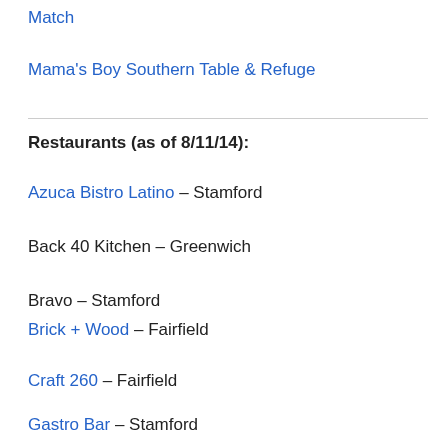Match
Mama's Boy Southern Table & Refuge
Restaurants (as of 8/11/14):
Azuca Bistro Latino – Stamford
Back 40 Kitchen – Greenwich
Bravo – Stamford
Brick + Wood – Fairfield
Craft 260 – Fairfield
Gastro Bar – Stamford